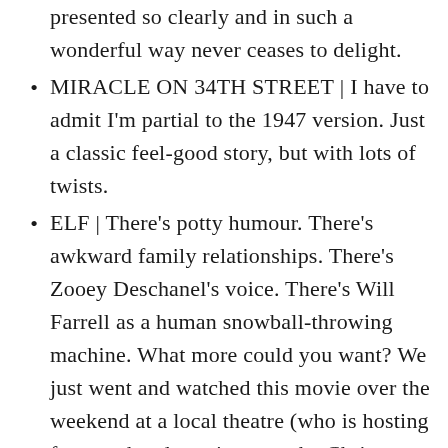presented so clearly and in such a wonderful way never ceases to delight.
MIRACLE ON 34TH STREET | I have to admit I'm partial to the 1947 version. Just a classic feel-good story, but with lots of twists.
ELF | There's potty humour. There's awkward family relationships. There's Zooey Deschanel's voice. There's Will Farrell as a human snowball-throwing machine. What more could you want? We just went and watched this movie over the weekend at a local theatre (who is hosting free weekend movies over the Christmas